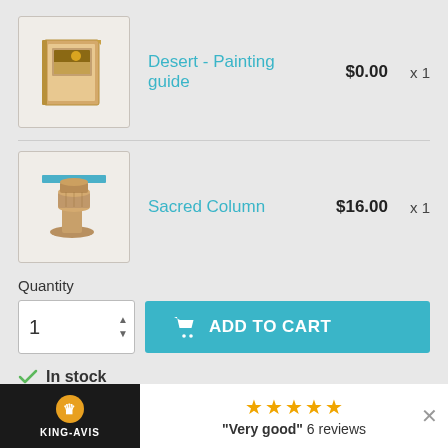[Figure (screenshot): Product thumbnail for Desert - Painting guide, showing a small booklet/guide image]
Desert - Painting guide   $0.00   x 1
[Figure (screenshot): Product thumbnail for Sacred Column, showing stacked column pieces]
Sacred Column   $16.00   x 1
Quantity
1
ADD TO CART
✓ In stock
Share
[Figure (logo): KING-AVIS logo with crown icon]
★★★★★ "Very good" 6 reviews